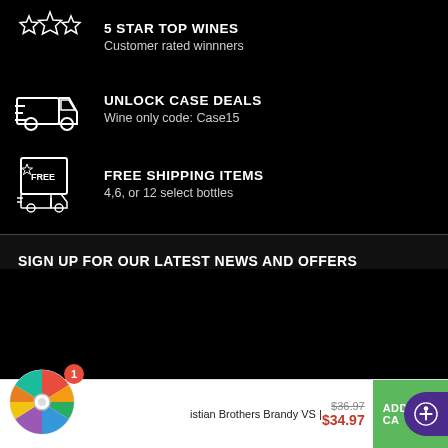5 STAR TOP WINES
Customer rated winnners
UNLOCK CASE DEALS
Wine only code: Case15
FREE SHIPPING ITEMS
4,6, or 12 select bottles
SIGN UP FOR OUR LATEST NEWS AND OFFERS
Christian Brothers Brandy VS | $36.97 $34.97 ADD TO CART